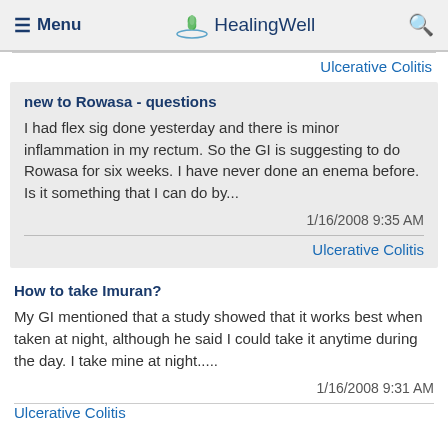Menu  HealingWell  [search]
Ulcerative Colitis
new to Rowasa - questions
I had flex sig done yesterday and there is minor inflammation in my rectum. So the GI is suggesting to do Rowasa for six weeks. I have never done an enema before. Is it something that I can do by...
1/16/2008 9:35 AM
Ulcerative Colitis
How to take Imuran?
My GI mentioned that a study showed that it works best when taken at night, although he said I could take it anytime during the day. I take mine at night.....
1/16/2008 9:31 AM
Ulcerative Colitis